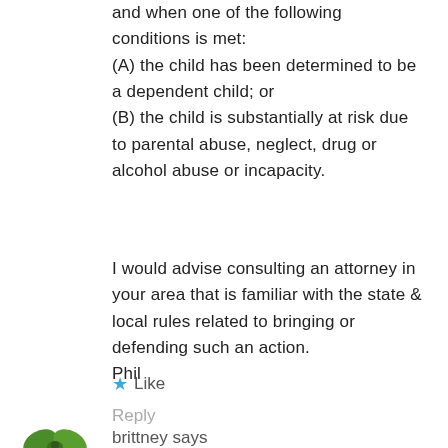and when one of the following conditions is met:
(A) the child has been determined to be a dependent child; or
(B) the child is substantially at risk due to parental abuse, neglect, drug or alcohol abuse or incapacity.
I would advise consulting an attorney in your area that is familiar with the state & local rules related to bringing or defending such an action.
Phil
Like
Reply
brittney says